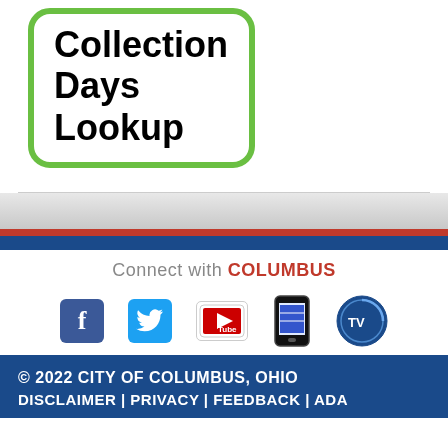[Figure (illustration): Green-bordered rounded rectangle button with bold text reading 'Collection Days Lookup']
Connect with COLUMBUS
[Figure (infographic): Row of social media icons: Facebook, Twitter, YouTube, mobile app, and Columbus TV]
© 2022 CITY OF COLUMBUS, OHIO
DISCLAIMER | PRIVACY | FEEDBACK | ADA